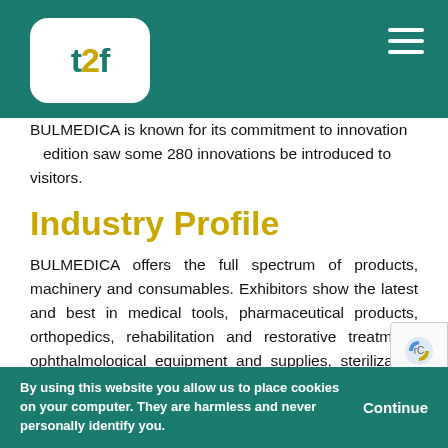t2f logo and navigation header bar
BULMEDICA is known for its commitment to innovation edition saw some 280 innovations be introduced to visitors.
Industry Profile
BULMEDICA offers the full spectrum of products, machinery and consumables. Exhibitors show the latest and best in medical tools, pharmaceutical products, orthopedics, rehabilitation and restorative treatment, ophthalmological equipment and supplies, sterilization and disinfection, and laboratory equipment and furniture among others. It's why you have visitors from all corners of the medical industry from doctors, dentists and dental technicians to managers of dental and medical centres, and hospital directors. In terms of nationalities, the audience consists of visitors from Bulgaria, Greece, Turkey, the Republic of North Macedonia, Serbia, Kosovo, Cyprus, Belgium, Italy, France, Germany, Spain, Israel, the USA, China, Canada and South K…
By using this website you allow us to place cookies on your computer. They are harmless and never personally identify you. Continue